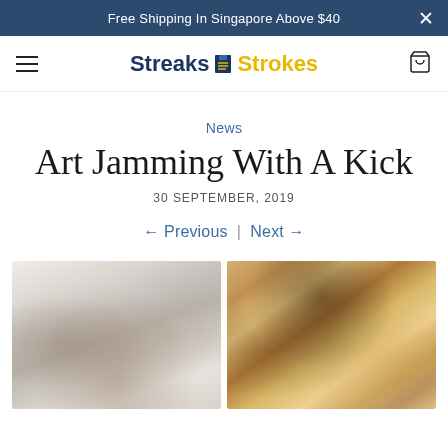Free Shipping In Singapore Above $40
[Figure (logo): Streaks n Strokes logo with navigation bar]
News
Art Jamming With A Kick
30 SEPTEMBER, 2019
← Previous  |  Next →
[Figure (photo): Two side-by-side photos: left shows a group of children in white t-shirts posing together; right shows a person engaged in art activity at a table with colorful materials]